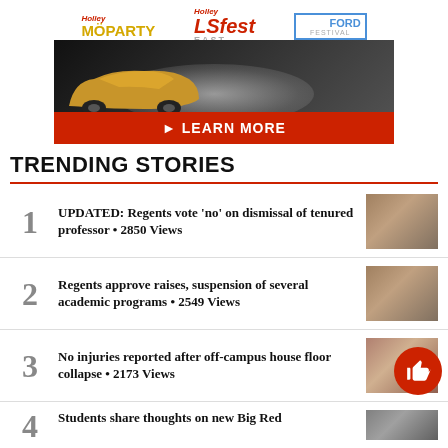[Figure (illustration): Holley MoParty, Holley LS Fest East, and Holley Ford Festival advertisement banner with a gold Mustang drifting and 'LEARN MORE' button on red background]
TRENDING STORIES
UPDATED: Regents vote 'no' on dismissal of tenured professor • 2850 Views
Regents approve raises, suspension of several academic programs • 2549 Views
No injuries reported after off-campus house floor collapse • 2173 Views
Students share thoughts on new Big Red